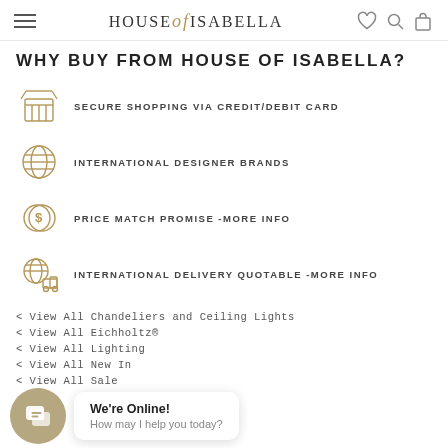HOUSE of ISABELLA
WHY BUY FROM HOUSE OF ISABELLA?
SECURE SHOPPING VIA CREDIT/DEBIT CARD
INTERNATIONAL DESIGNER BRANDS
PRICE MATCH PROMISE -MORE INFO
INTERNATIONAL DELIVERY QUOTABLE -MORE INFO
< View All Chandeliers and Ceiling Lights
< View All Eichholtz®
< View All Lighting
< View All New In
< View All Sale
We're Online! How may I help you today?